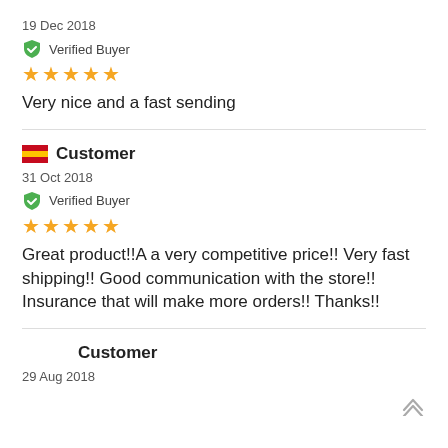19 Dec 2018
Verified Buyer
★★★★★
Very nice and a fast sending
Customer
31 Oct 2018
Verified Buyer
★★★★★
Great product!!A a very competitive price!! Very fast shipping!! Good communication with the store!! Insurance that will make more orders!! Thanks!!
Customer
29 Aug 2018